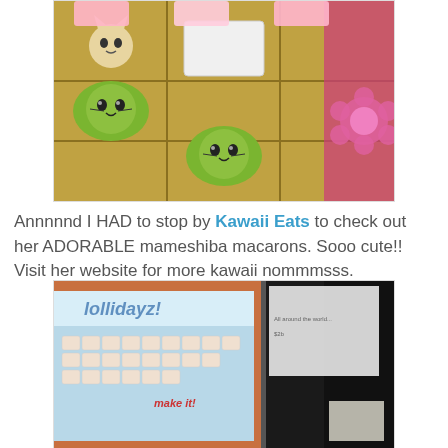[Figure (photo): Photo of kawaii mameshiba macarons displayed in gold/clear plastic trays. The macarons are green with cute animal faces drawn on them. There are also some lighter colored macarons with animal faces. Pink floral fabric visible in background.]
Annnnnd I HAD to stop by Kawaii Eats to check out her ADORABLE mameshiba macarons. Sooo cute!! Visit her website for more kawaii nommmsss.
[Figure (photo): Photo of a craft/market booth with a banner reading 'lollidayz!' and a light blue display board with tiles/craft items arranged on it. Text on board reads 'make it!' with decorative elements. Adjacent dark booth with banner partially visible.]